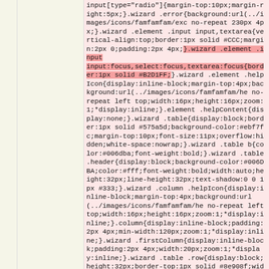input[type="radio"]{margin-top:10px;margin-right:5px;}.wizard .error{background:url(../images/icons/famfamfam/exc no-repeat 230px 4px;}.wizard .element .input input,textarea{vertical-align:top;border:1px solid #CCC;margin:2px 0;padding:2px 4px;}.wizard .element .input input:focus,select:focus,textarea:focus{border:1px solid #B2D1FF;}.wizard .element .helpIcon{display:inline-block;margin-top:4px;background:url(../images/icons/famfamfam/he no-repeat left top;width:16px;height:16px;zoom:1;*display:inline;}.element .helpContent{display:none;}.wizard .table{display:block;border:1px solid #575a5d;background-color:#ebf7fc;margin-top:10px;font-size:11px;overflow:hidden;white-space:nowrap;}.wizard .table b{color:#006dba;font-weight:bold;}.wizard .table .header{display:block;background-color:#006DBA;color:#fff;font-weight:bold;width:auto;height:32px;line-height:32px;text-shadow:0 0 1px #333;}.wizard .column .helpIcon{display:inline-block;margin-top:4px;background:url(../images/icons/famfamfam/he no-repeat left top;width:16px;height:16px;zoom:1;*display:inline;}.column{display:inline-block;padding:2px 4px;min-width:120px;zoom:1;*display:inline;}.wizard .firstColumn{display:inline-block;padding:2px 4px;width:20px;zoom:1;*display:inline;}.wizard .table .row{display:block;height:32px;border-top:1px solid #8e908f;width:auto;}.wizard .table .row input,.wizard .table .row select{background-color:#fff;}.wizard .table .ui-selected{background-color:#ffab7b;}.wizard .table .ui-selecting{background-color:#f2e3bc;}.wizard .table .row .warning{color:red;font-